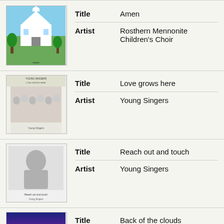[Figure (illustration): Album cover: church building with blue sky, Amen]
Title: Amen
Artist: Rosthern Mennonite Children's Choir
[Figure (illustration): Album cover: Young Singers choir group photo]
Title: Love grows here
Artist: Young Singers
[Figure (illustration): Album cover: black and white portrait, Reach out and touch]
Title: Reach out and touch
Artist: Young Singers
[Figure (illustration): Album cover: sunset cloud sky, Back of the clouds]
Title: Back of the clouds
Artist: Fairview Bible Church (Swift Current, Sask.)
[Figure (illustration): Album cover: partial view, North Battleford City Kinsmen Band]
Title: North Battleford City Kinsmen Band: